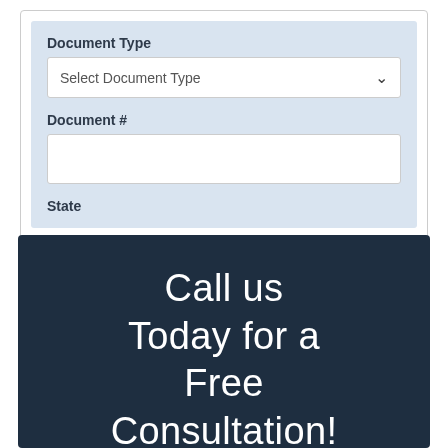Document Type
Select Document Type
Document #
State
Call us Today for a Free Consultation!